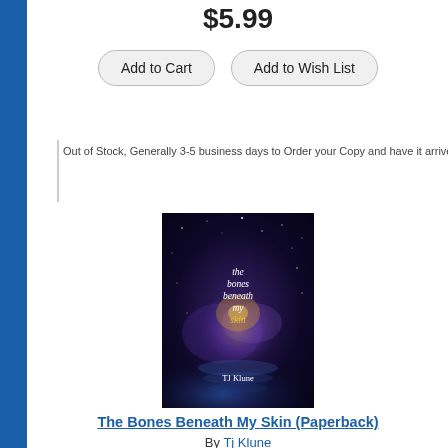$5.99
Add to Cart | Add to Wish List
Out of Stock, Generally 3-5 business days to Order your Copy and have it arrive at our store o…
[Figure (photo): Book cover of 'The Bones Beneath My Skin' by TJ Klune — dark blue/purple galaxy background with title text in yellow/white and author name at bottom]
The Bones Beneath My Skin (Paperback)
By Tj Klune
$21.59
Add to Cart | Add to Wish List
Backordered as of this date, availability unknown at this time. E-mail or call to inquir…
[Figure (photo): Partial view of another book cover at the bottom of the page — 'Saxon James' visible on cover with a person's face]